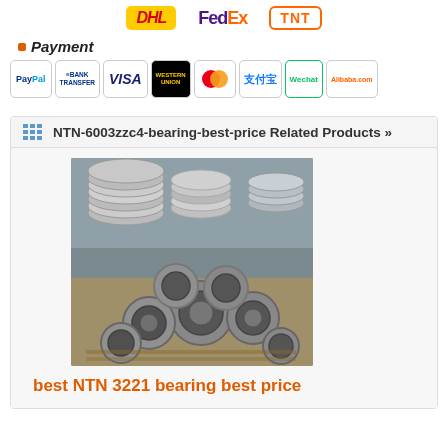[Figure (logo): DHL, FedEx, TNT shipping carrier logos]
Payment
[Figure (logo): Payment method logos: PayPal, Bank Transfer, VISA, Western Union, MasterCard, Alipay, WeChat, Alibaba.com]
NTN-6003zzc4-bearing-best-price Related Products »
[Figure (photo): Photo of industrial bearings stacked in a warehouse facility]
best NTN 3221 bearing best price